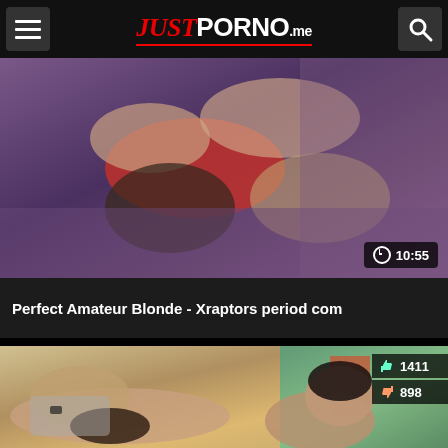JUSTPORNO.me
[Figure (screenshot): Video thumbnail showing couple on bed with purple bedding]
10:55
Perfect Amateur Blonde - Xraptors period com
[Figure (screenshot): Video thumbnail showing two people, with like count 1411 and dislike count 898]
1411
898